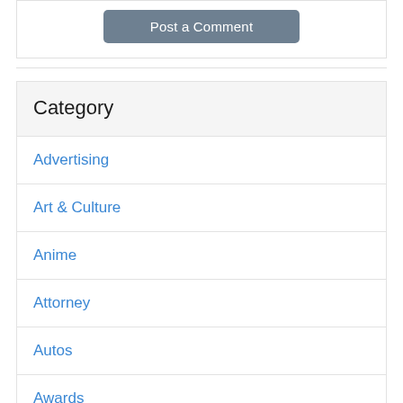Post a Comment
Category
Advertising
Art & Culture
Anime
Attorney
Autos
Awards